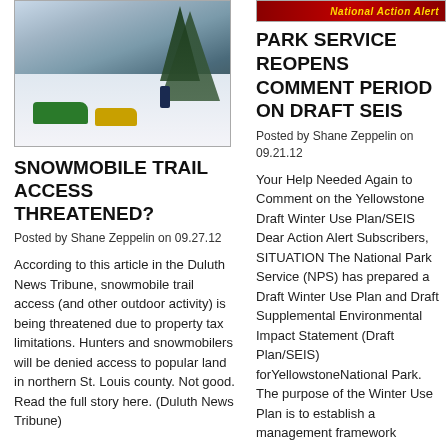[Figure (photo): Snowmobiles parked on a snow-covered trail in a forest, with people standing nearby. Green and yellow snowmobiles visible, snow-covered trees in background.]
[Figure (other): National Action Alert banner/header image with red background and gold italic text.]
SNOWMOBILE TRAIL ACCESS THREATENED?
Posted by Shane Zeppelin on 09.27.12
According to this article in the Duluth News Tribune, snowmobile trail access (and other outdoor activity) is being threatened due to property tax limitations. Hunters and snowmobilers will be denied access to popular land in northern St. Louis county. Not good. Read the full story here. (Duluth News Tribune)
PARK SERVICE REOPENS COMMENT PERIOD ON DRAFT SEIS
Posted by Shane Zeppelin on 09.21.12
Your Help Needed Again to Comment on the Yellowstone Draft Winter Use Plan/SEIS Dear Action Alert Subscribers, SITUATION The National Park Service (NPS) has prepared a Draft Winter Use Plan and Draft Supplemental Environmental Impact Statement (Draft Plan/SEIS) forYellowstoneNational Park. The purpose of the Winter Use Plan is to establish a management framework forYellowstone's unique